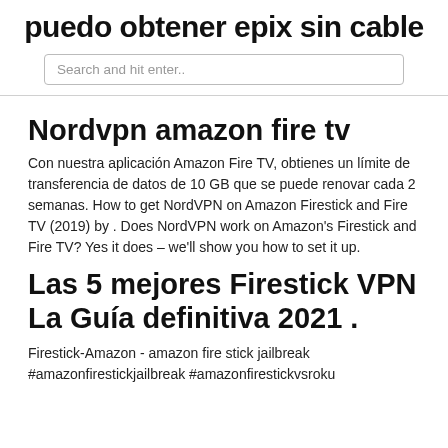puedo obtener epix sin cable
Search and hit enter..
Nordvpn amazon fire tv
Con nuestra aplicación Amazon Fire TV, obtienes un límite de transferencia de datos de 10 GB que se puede renovar cada 2 semanas. How to get NordVPN on Amazon Firestick and Fire TV (2019) by . Does NordVPN work on Amazon's Firestick and Fire TV? Yes it does – we'll show you how to set it up.
Las 5 mejores Firestick VPN La Guía definitiva 2021 .
Firestick-Amazon - amazon fire stick jailbreak #amazonfirestickjailbreak #amazonfirestickvsroku